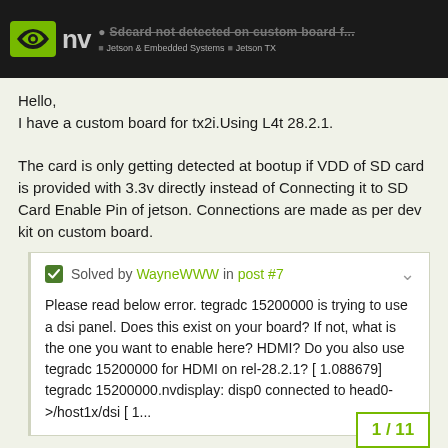Sdcard not detected on custom board f... | Jetson & Embedded Systems | Jetson TX
Hello,
I have a custom board for tx2i.Using L4t 28.2.1.

The card is only getting detected at bootup if VDD of SD card is provided with 3.3v directly instead of Connecting it to SD Card Enable Pin of jetson. Connections are made as per dev kit on custom board.
✓ Solved by WayneWWW in post #7

Please read below error. tegradc 15200000 is trying to use a dsi panel. Does this exist on your board? If not, what is the one you want to enable here? HDMI? Do you also use tegradc 15200000 for HDMI on rel-28.2.1? [ 1.088679] tegradc 15200000.nvdisplay: disp0 connected to head0->/host1x/dsi [ 1...
1 / 11